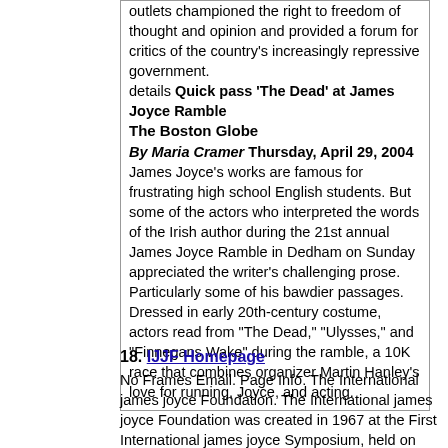outlets championed the right to freedom of thought and opinion and provided a forum for critics of the country's increasingly repressive government.
details Quick pass 'The Dead' at James Joyce Ramble
The Boston Globe
By Maria Cramer Thursday, April 29, 2004
James Joyce's works are famous for frustrating high school English students. But some of the actors who interpreted the words of the Irish author during the 21st annual James Joyce Ramble in Dedham on Sunday appreciated the writer's challenging prose. Particularly some of his bawdier passages. Dressed in early 20th-century costume, actors read from "The Dead," "Ulysses," and "Finnegans Wake" during the ramble, a 10K race that combines organizer Martin Hanley's love for running, Joyce, and acting.
18. IJJF Homepage
No Frames Email. Page Info. The International james joyce Foundation. The International james joyce Foundation was created in 1967 at the First International james joyce Symposium, held on BloomsdayJune 16in